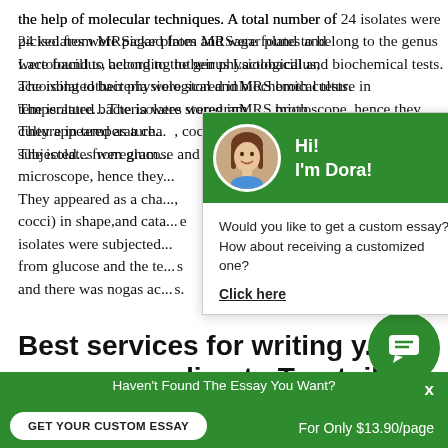the help of molecular techniques. A total number of 24 isolates were picked from MRSagar plates and were found to belong to the genus Lactobacillus, according totheir physiological and biochemical tests. The isolated bacteria were stored inMRS broth culture in temperature... The isolates weregram... microscope, hence they... They appeared as a cha..., cocci) in shape,and cata... isolates were subjected... from glucose and the te... and there was nogas ac...
[Figure (screenshot): Chat popup with avatar of a woman named Dora on a green header, with text 'Would you like to get a custom essay? How about receiving a customized one?' and a 'Click here' link.]
Best services for writing y... paper according to Trustpilo...
[Figure (screenshot): Green circular chat button with speech bubble icon in bottom right]
Haven't Found The Essay You Want?
GET YOUR CUSTOM ESSAY    For Only $13.90/page